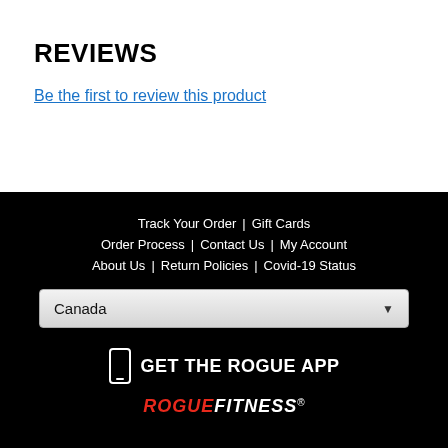REVIEWS
Be the first to review this product
Track Your Order | Gift Cards | Order Process | Contact Us | My Account | About Us | Return Policies | Covid-19 Status
Canada
GET THE ROGUE APP
[Figure (logo): ROGUE FITNESS logo in red and white italic bold text]